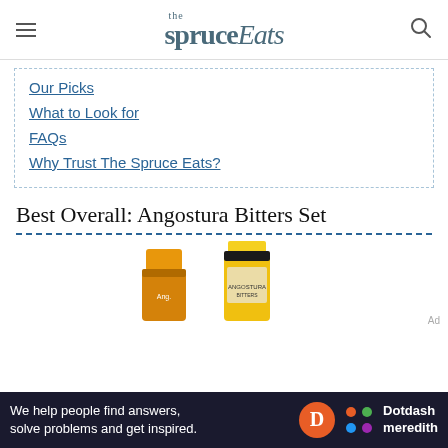the spruce Eats
Our Picks
What to Look for
FAQs
Why Trust The Spruce Eats?
Best Overall: Angostura Bitters Set
[Figure (photo): Two Angostura Bitters bottles with yellow caps/labels]
We help people find answers, solve problems and get inspired.
[Figure (logo): Dotdash Meredith logo with orange D circle and colorful dots icon]